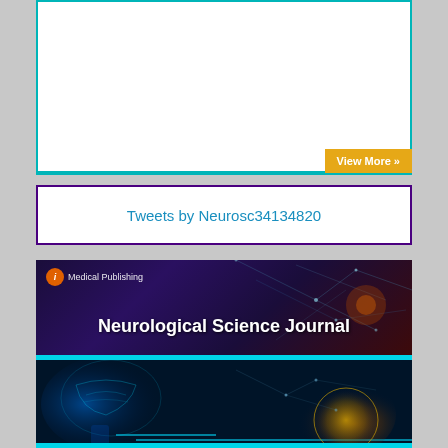[Figure (screenshot): White panel with teal border and 'View More »' gold button at bottom right]
View More »
Tweets by Neurosc34134820
[Figure (illustration): Neurological Science Journal banner with neural network background, brain imagery, and iMedical Publishing logo]